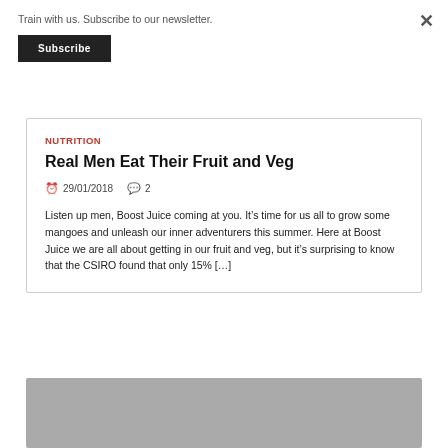Train with us. Subscribe to our newsletter.
Subscribe
Nutrition
Real Men Eat Their Fruit and Veg
29/01/2018   2
Listen up men, Boost Juice coming at you. It’s time for us all to grow some mangoes and unleash our inner adventurers this summer. Here at Boost Juice we are all about getting in our fruit and veg, but it’s surprising to know that the CSIRO found that only 15% […]
[Figure (photo): Gray placeholder image at the bottom of the page]